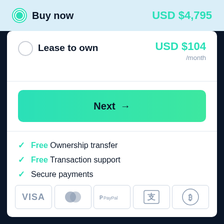Buy now — USD $4,795
Lease to own — USD $104 /month
Next →
Free Ownership transfer
Free Transaction support
Secure payments
[Figure (other): Payment method icons: VISA, Mastercard, PayPal, Alipay, Bitcoin]